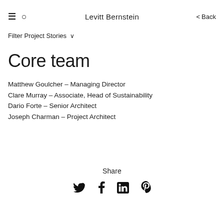Levitt Bernstein
Filter Project Stories   ∨                              < Back
Core team
Matthew Goulcher – Managing Director
Clare Murray – Associate, Head of Sustainability
Dario Forte – Senior Architect
Joseph Charman – Project Architect
Share
[Figure (other): Social media share icons: Twitter, Facebook, LinkedIn, Pinterest]